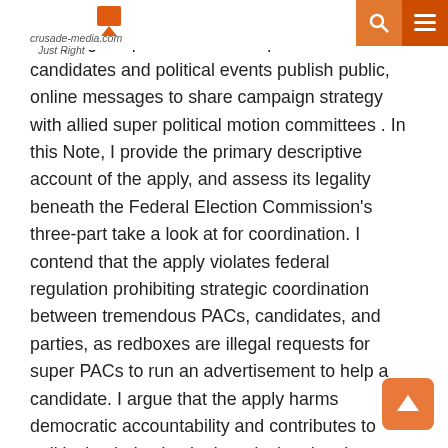crusade-media.com Just Right
Redboxing is the term used by marketing campaign operatives to explain when candidates and political events publish public, online messages to share campaign strategy with allied super political motion committees . In this Note, I provide the primary descriptive account of the apply, and assess its legality beneath the Federal Election Commission's three-part take a look at for coordination. I contend that the apply violates federal regulation prohibiting strategic coordination between tremendous PACs, candidates, and parties, as redboxes are illegal requests for super PACs to run an advertisement to help a candidate. I argue that the apply harms democratic accountability and contributes to political polarization by introducing the chance